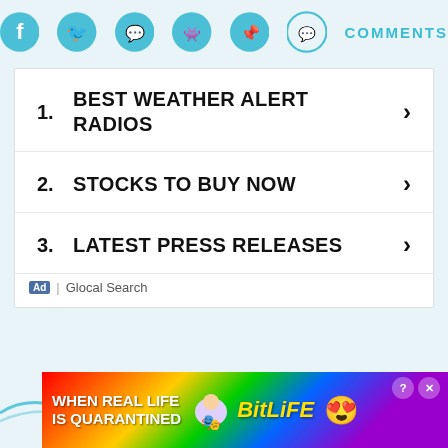[Figure (other): Social sharing icons row: Facebook, Twitter, WhatsApp, Reddit, Pinterest, Comments button in cyan/teal color]
1. BEST WEATHER ALERT RADIOS ›
2. STOCKS TO BUY NOW ›
3. LATEST PRESS RELEASES ›
Ad | Glocal Search
[Figure (other): Notification bell button (dark circle with bell icon)]
[Figure (other): Wavy cyan decorative line across the page with close X button]
[Figure (other): BitLife advertisement banner at bottom with rainbow gradient background, mascot emoji, text WHEN REAL LIFE IS QUARANTINED]